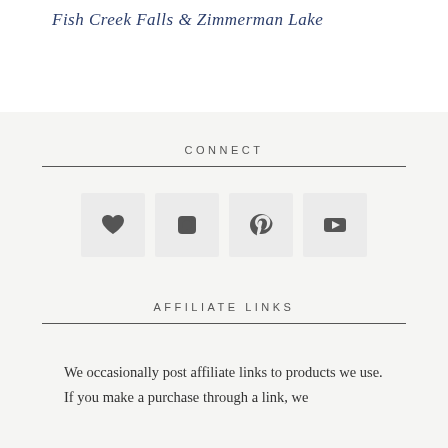Fish Creek Falls & Zimmerman Lake
CONNECT
[Figure (infographic): Four social media icon boxes in a row: heart (blog/Bloglovin), Instagram camera, Pinterest P, and YouTube play button]
AFFILIATE LINKS
We occasionally post affiliate links to products we use. If you make a purchase through a link, we